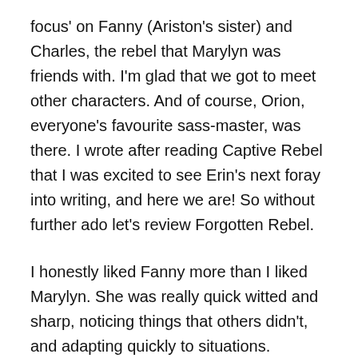focus' on Fanny (Ariston's sister) and Charles, the rebel that Marylyn was friends with. I'm glad that we got to meet other characters. And of course, Orion, everyone's favourite sass-master, was there. I wrote after reading Captive Rebel that I was excited to see Erin's next foray into writing, and here we are! So without further ado let's review Forgotten Rebel.
I honestly liked Fanny more than I liked Marylyn. She was really quick witted and sharp, noticing things that others didn't, and adapting quickly to situations. Unfortunately at some times the dialogue between her and others was kind of slow – things would be repeated multiple times, and it wasn't the most captivating. There was some really good scenes though – I thought that the encounter with sirens and the gladiator battle were both really fun and exciting. I especially liked the siren scene, because Fanny was